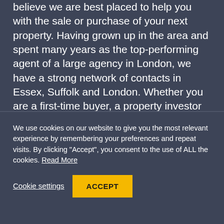believe we are best placed to help you with the sale or purchase of your next property. Having grown up in the area and spent many years as the top-performing agent of a large agency in London, we have a strong network of contacts in Essex, Suffolk and London. Whether you are a first-time buyer, a property investor or looking for you next dream home we bring a depth of professionalism and a personal approach to pursuing the best possible outcome for every client.
We use cookies on our website to give you the most relevant experience by remembering your preferences and repeat visits. By clicking "Accept", you consent to the use of ALL the cookies. Read More
Cookie settings
ACCEPT